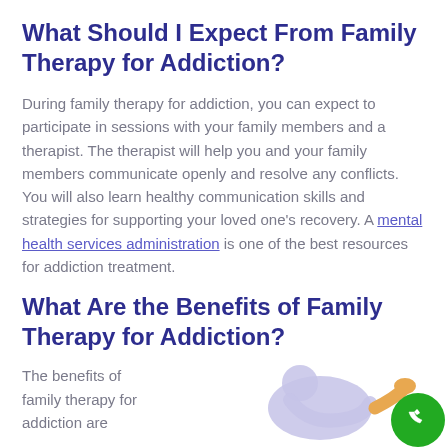What Should I Expect From Family Therapy for Addiction?
During family therapy for addiction, you can expect to participate in sessions with your family members and a therapist. The therapist will help you and your family members communicate openly and resolve any conflicts. You will also learn healthy communication skills and strategies for supporting your loved one's recovery. A mental health services administration is one of the best resources for addiction treatment.
What Are the Benefits of Family Therapy for Addiction?
The benefits of family therapy for addiction are
[Figure (illustration): Illustration of a person bending over with another person assisting, in light purple and orange colors, partially visible at bottom right of page. A green circular phone/call button overlaps the illustration.]